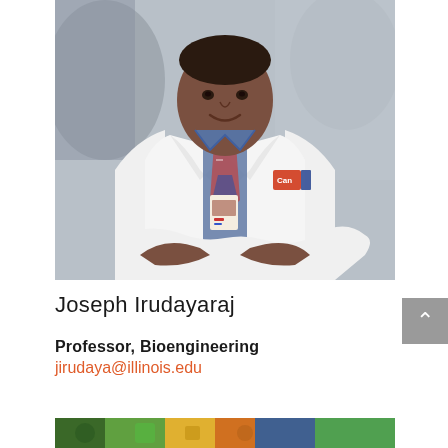[Figure (photo): Professional portrait photo of Joseph Irudayaraj in a white lab coat with arms crossed, wearing a patterned tie and ID badge, standing in a laboratory setting]
Joseph Irudayaraj
Professor, Bioengineering
jirudaya@illinois.edu
[Figure (photo): Partial view of laboratory equipment at the bottom of the page]